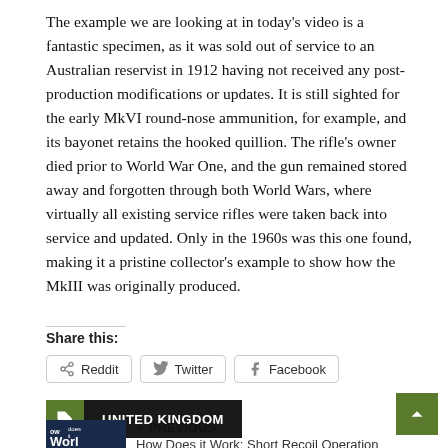The example we are looking at in today's video is a fantastic specimen, as it was sold out of service to an Australian reservist in 1912 having not received any post-production modifications or updates. It is still sighted for the early MkVI round-nose ammunition, for example, and its bayonet retains the hooked quillion. The rifle's owner died prior to World War One, and the gun remained stored away and forgotten through both World Wars, where virtually all existing service rifles were taken back into service and updated. Only in the 1960s was this one found, making it a pristine collector's example to show how the MkIII was originally produced.
Share this:
Reddit
Twitter
Facebook
UNITED KINGDOM
« PREVIOUS
How Does it Work: Short Recoil Operation